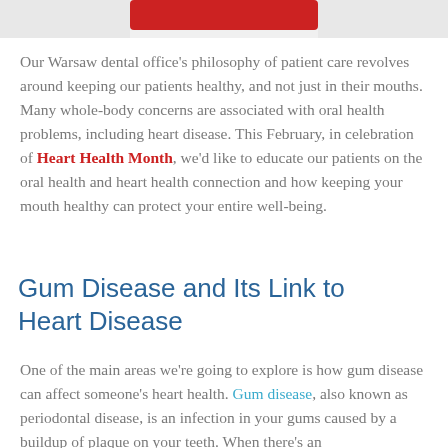[Figure (photo): Partial top of a dental/heart health themed image — red colored banner or image visible at the very top]
Our Warsaw dental office's philosophy of patient care revolves around keeping our patients healthy, and not just in their mouths. Many whole-body concerns are associated with oral health problems, including heart disease. This February, in celebration of Heart Health Month, we'd like to educate our patients on the oral health and heart health connection and how keeping your mouth healthy can protect your entire well-being.
Gum Disease and Its Link to Heart Disease
One of the main areas we're going to explore is how gum disease can affect someone's heart health. Gum disease, also known as periodontal disease, is an infection in your gums caused by a buildup of plaque on your teeth. When there's an